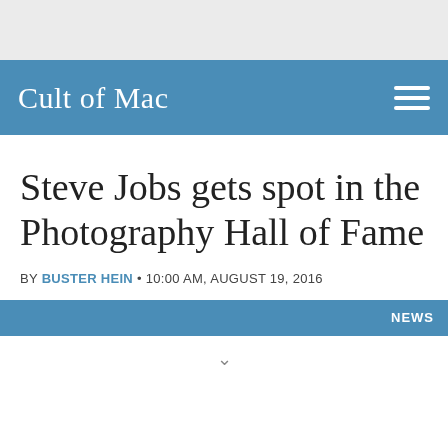Cult of Mac
Steve Jobs gets spot in the Photography Hall of Fame
BY BUSTER HEIN • 10:00 AM, AUGUST 19, 2016
NEWS